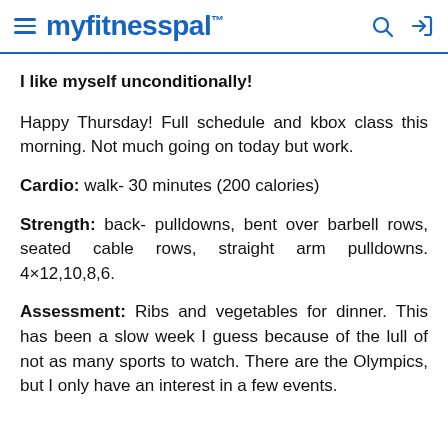myfitnesspal
I like myself unconditionally!
Happy Thursday! Full schedule and kbox class this morning. Not much going on today but work.
Cardio: walk- 30 minutes (200 calories)
Strength: back- pulldowns, bent over barbell rows, seated cable rows, straight arm pulldowns. 4×12,10,8,6.
Assessment: Ribs and vegetables for dinner. This has been a slow week I guess because of the lull of not as many sports to watch. There are the Olympics, but I only have an interest in a few events.